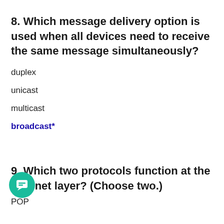8. Which message delivery option is used when all devices need to receive the same message simultaneously?
duplex
unicast
multicast
broadcast*
9. Which two protocols function at the Internet layer? (Choose two.)
POP